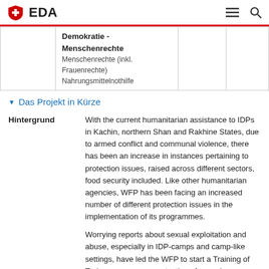EDA
|  | Demokratie - Menschenrechte
Menschenrechte (inkl. Frauenrechte)
Nahrungsmittelnothilfe |  |  |
Das Projekt in Kürze
Hintergrund
With the current humanitarian assistance to IDPs in Kachin, northern Shan and Rakhine States, due to armed conflict and communal violence, there has been an increase in instances pertaining to protection issues, raised across different sectors, food security included. Like other humanitarian agencies, WFP has been facing an increased number of different protection issues in the implementation of its programmes.
Worrying reports about sexual exploitation and abuse, especially in IDP-camps and camp-like settings, have led the WFP to start a Training of Trainer program on protection of sexual